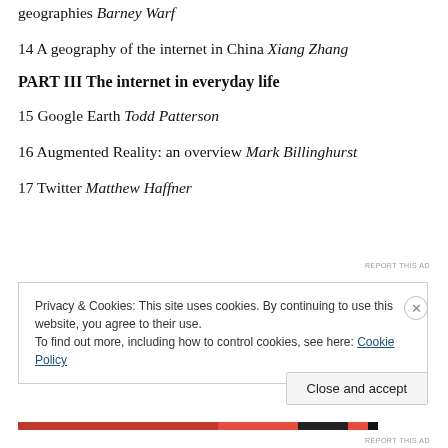geographies Barney Warf
14 A geography of the internet in China Xiang Zhang
PART III The internet in everyday life
15 Google Earth Todd Patterson
16 Augmented Reality: an overview Mark Billinghurst
17 Twitter Matthew Haffner
REPORT THIS AD
Privacy & Cookies: This site uses cookies. By continuing to use this website, you agree to their use.
To find out more, including how to control cookies, see here: Cookie Policy
Close and accept